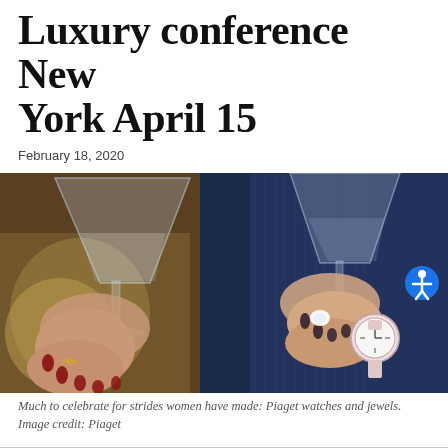Luxury conference New York April 15
February 18, 2020
[Figure (photo): Two women in glamorous clothing holding large martini glasses. The woman on the left wears a sparkly gold/silver dress and has red nails and rings. The woman on the right wears a blue metallic dress and has a Piaget diamond watch and large diamond ring. A blue accessibility icon button is visible in the lower right corner of the image.]
Much to celebrate for strides women have made: Piaget watches and jewels. Image credit: Piaget